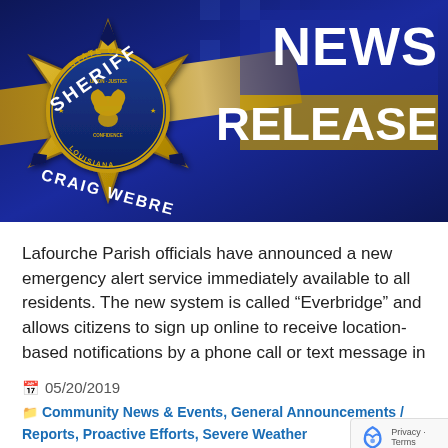[Figure (photo): Sheriff Craig Webre gold star badge with Louisiana pelican seal on blue background with 'NEWS RELEASE' text overlay]
Lafourche Parish officials have announced a new emergency alert service immediately available to all residents. The new system is called “Everbridge” and allows citizens to sign up online to receive location-based notifications by a phone call or text message in
05/20/2019
Community News & Events, General Announcements / Reports, Proactive Efforts, Severe Weather